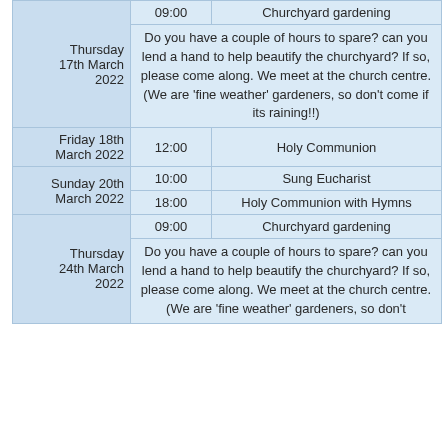| Date | Time | Event |
| --- | --- | --- |
| Thursday 17th March 2022 | 09:00 | Churchyard gardening |
|  |  | Do you have a couple of hours to spare? can you lend a hand to help beautify the churchyard? If so, please come along. We meet at the church centre. (We are 'fine weather' gardeners, so don't come if its raining!!) |
| Friday 18th March 2022 | 12:00 | Holy Communion |
| Sunday 20th March 2022 | 10:00 | Sung Eucharist |
|  | 18:00 | Holy Communion with Hymns |
| Thursday 24th March 2022 | 09:00 | Churchyard gardening |
|  |  | Do you have a couple of hours to spare? can you lend a hand to help beautify the churchyard? If so, please come along. We meet at the church centre. (We are 'fine weather' gardeners, so don't |